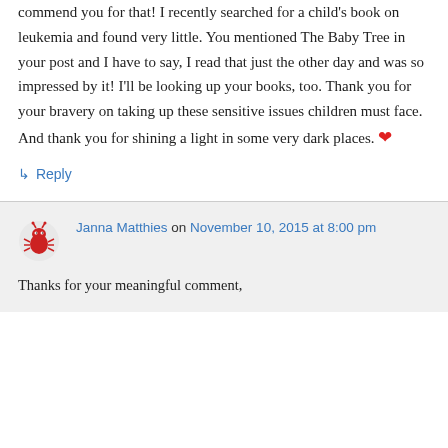commend you for that! I recently searched for a child's book on leukemia and found very little. You mentioned The Baby Tree in your post and I have to say, I read that just the other day and was so impressed by it! I'll be looking up your books, too. Thank you for your bravery on taking up these sensitive issues children must face. And thank you for shining a light in some very dark places. ❤
↳ Reply
Janna Matthies on November 10, 2015 at 8:00 pm
Thanks for your meaningful comment,